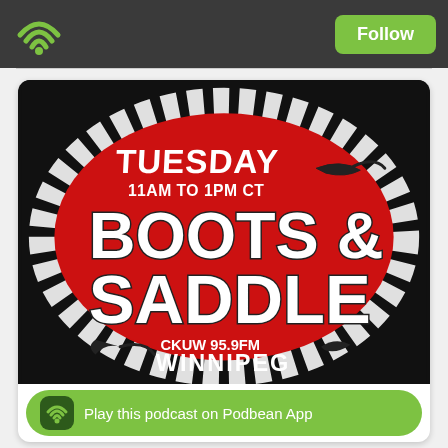Follow
[Figure (illustration): Boots & Saddle radio show logo: Tuesday 11AM to 1PM CT, BOOTS & SADDLE, CKUW 95.9FM Winnipeg. Red background inside a rope border, black background outside.]
Play this podcast on Podbean App